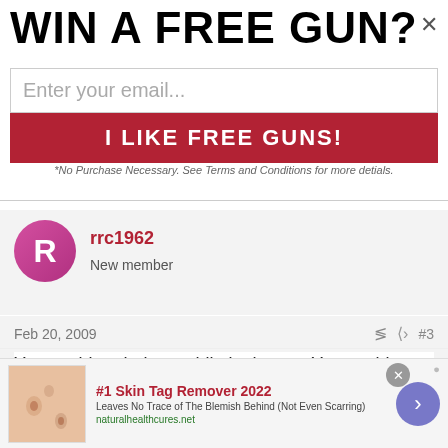WIN A FREE GUN?
Enter your email...
I LIKE FREE GUNS!
*No Purchase Necessary. See Terms and Conditions for more detials.
[Figure (illustration): Pink/magenta circular avatar with white letter R]
rrc1962
New member
Feb 20, 2009
#3
You could un-holster while in the car. You could even go so far as to attach some sort of holster under the dash. Fobus makes some cool hardware for mounting one of their roto holsters
[Figure (photo): Skin tag removal advertisement image showing skin close-up]
#1 Skin Tag Remover 2022
Leaves No Trace of The Blemish Behind (Not Even Scarring)
naturalhealthcures.net